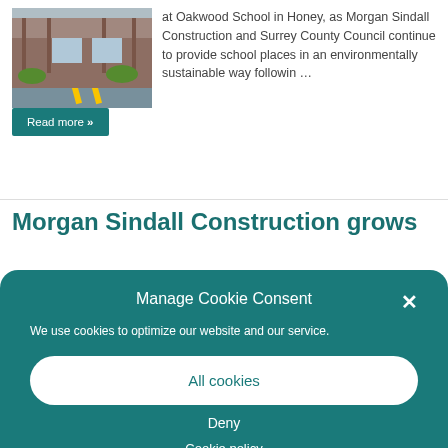[Figure (photo): Exterior photo of Oakwood School building with wooden canopy entrance and landscaping]
at Oakwood School in Honey, as Morgan Sindall Construction and Surrey County Council continue to provide school places in an environmentally sustainable way followin …
Read more »
Morgan Sindall Construction grows
Manage Cookie Consent
We use cookies to optimize our website and our service.
All cookies
Deny
Cookie policy